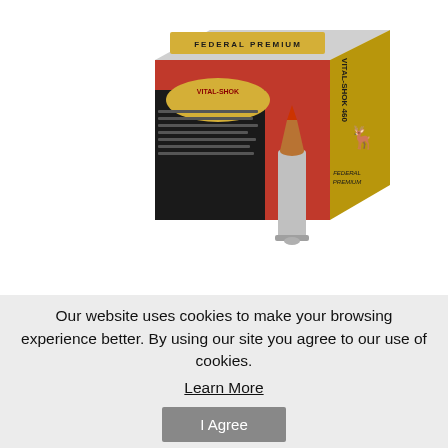[Figure (photo): Federal Premium Vital-Shok 460 ammunition box (red, black and gold) with two rifle cartridges displayed in front — one standing upright, one lying on its side — on a white background.]
Our website uses cookies to make your browsing experience better. By using our site you agree to our use of cookies.
Learn More
I Agree